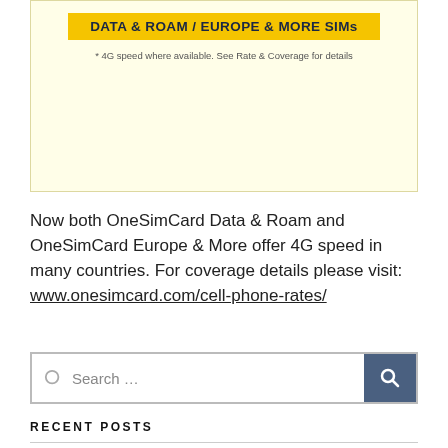[Figure (screenshot): Promotional banner for OneSimCard Data & Roam / Europe & More SIMs with yellow background and footnote about 4G speed]
Now both OneSimCard Data & Roam and OneSimCard Europe & More offer 4G speed in many countries. For coverage details please visit: www.onesimcard.com/cell-phone-rates/
Search …
RECENT POSTS
The Top 5 Cities in the USA for Expats (Job Placement, Ease and...